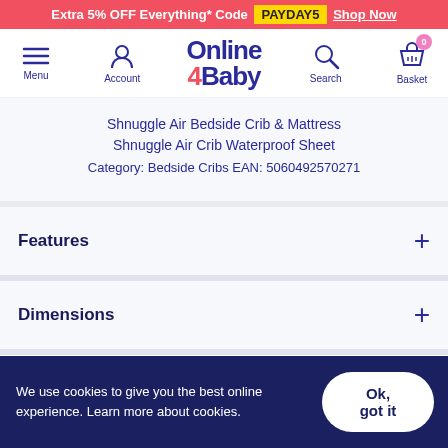Extra 5% OFF Everything* Code PAYDAY5 Shop Now
[Figure (screenshot): Online 4 Baby website navigation bar with Menu, Account, logo, Search and Basket icons]
Shnuggle Air Bedside Crib & Mattress
Shnuggle Air Crib Waterproof Sheet
Category: Bedside Cribs EAN: 5060492570271
Features
Dimensions
We use cookies to give you the best online experience. Learn more about cookies.